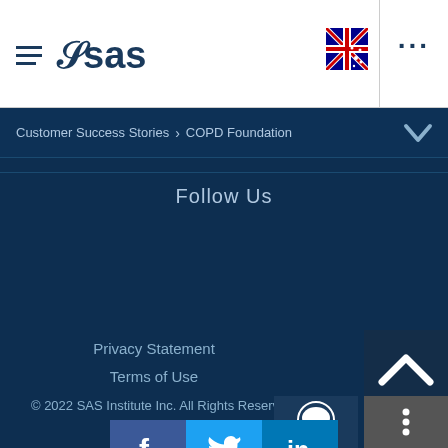[Figure (logo): SAS logo with hamburger menu icon on left, Australian flag and three-dot menu on right]
Customer Success Stories > COPD Foundation
Follow Us
Privacy Statement
Terms of Use
© 2022 SAS Institute Inc. All Rights Reserved.
[Figure (illustration): Social media icons: Facebook, Twitter, LinkedIn]